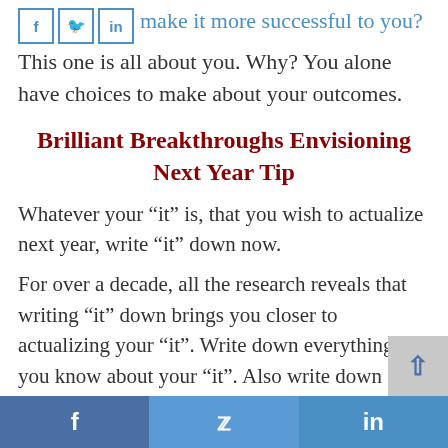What will make it more successful to you? This one is all about you. Why? You alone have choices to make about your outcomes.
Brilliant Breakthroughs Envisioning Next Year Tip
Whatever your “it” is, that you wish to actualize next year, write “it” down now.
For over a decade, all the research reveals that writing “it” down brings you closer to actualizing your “it”. Write down everything you know about your “it”. Also write down
f  🐦  in